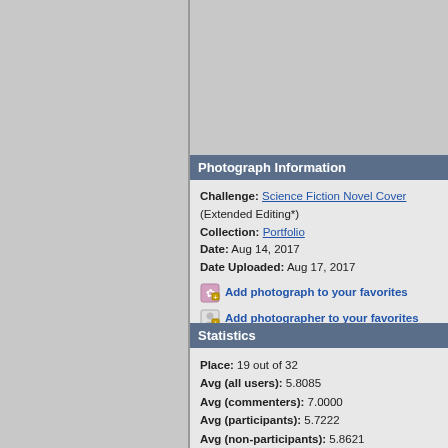Photograph Information
Challenge: Science Fiction Novel Cover (Extended Editing*)
Collection: Portfolio
Date: Aug 14, 2017
Date Uploaded: Aug 17, 2017
Add photograph to your favorites
Add photographer to your favorites
Statistics
Place: 19 out of 32
Avg (all users): 5.8085
Avg (commenters): 7.0000
Avg (participants): 5.7222
Avg (non-participants): 5.8621
Views since voting: 161
Views during voting: 105
Votes: 47
Comments: 2
Favorites: 0